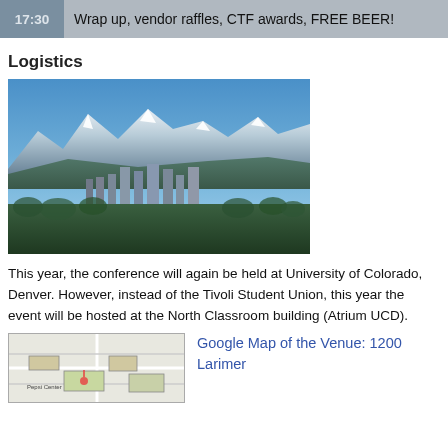17:30 — Wrap up, vendor raffles, CTF awards, FREE BEER!
Logistics
[Figure (photo): Aerial/skyline photo of Denver, Colorado with Rocky Mountains with snow-capped peaks in the background and city buildings in the foreground surrounded by trees]
This year, the conference will again be held at University of Colorado, Denver. However, instead of the Tivoli Student Union, this year the event will be hosted at the North Classroom building (Atrium UCD).
[Figure (map): Campus map of University of Colorado Denver showing building locations including Pepsi Center area]
Google Map of the Venue: 1200 Larimer